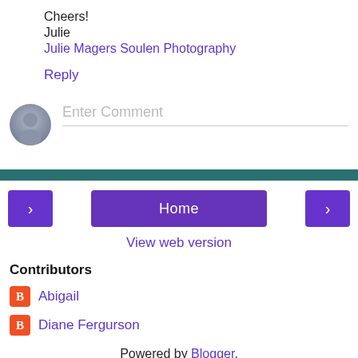Cheers!
Julie
Julie Magers Soulen Photography
Reply
[Figure (other): Comment input area with avatar circle and 'Enter Comment' placeholder text]
Home
View web version
Contributors
Abigail
Diane Fergurson
Powered by Blogger.